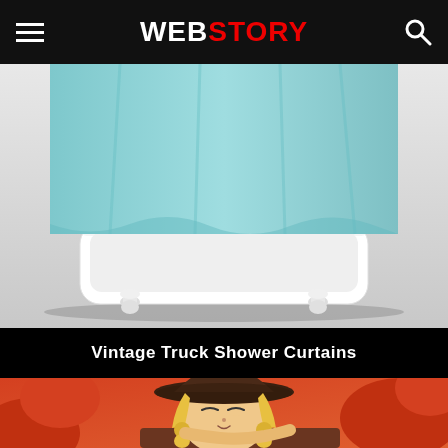WEBSTORY
[Figure (photo): A light blue shower curtain hanging on a white clawfoot bathtub, product photo on light gray background]
Vintage Truck Shower Curtains
[Figure (illustration): 3D rendered cartoon anime-style girl with blonde braided hair wearing a large brown witch hat, resting against orange puffy furniture]